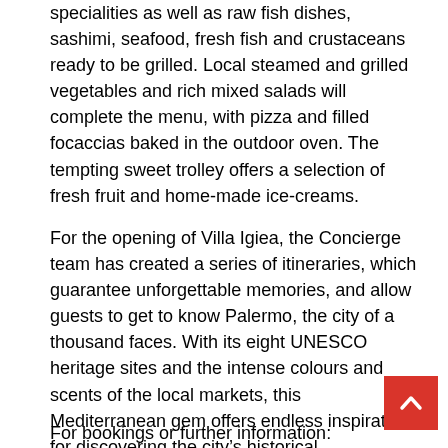specialities as well as raw fish dishes, sashimi, seafood, fresh fish and crustaceans ready to be grilled. Local steamed and grilled vegetables and rich mixed salads will complete the menu, with pizza and filled focaccias baked in the outdoor oven. The tempting sweet trolley offers a selection of fresh fruit and home-made ice-creams.
For the opening of Villa Igiea, the Concierge team has created a series of itineraries, which guarantee unforgettable memories, and allow guests to get to know Palermo, the city of a thousand faces. With its eight UNESCO heritage sites and the intense colours and scents of the local markets, this Mediterranean gem offers endless inspiration for discovering the city’s historical, architectonic and landscape delights. You can choose from the “Jewish Palermo”, “The Leopard Tour”, “Local market tour with cooking lesson”, decide to take the “Florio trail” or explore the island’s coastal roads on a Porsche cabriolet in complete freedom and much more.
For bookings or further information: